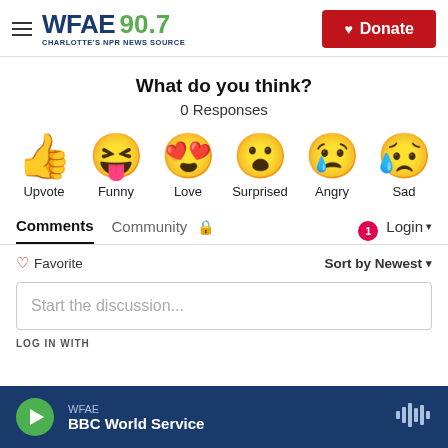WFAE 90.7 CHARLOTTE'S NPR NEWS SOURCE | Donate
What do you think?
0 Responses
[Figure (infographic): Six emoji reaction buttons: Upvote (thumbs up), Funny (laughing face with tongue), Love (heart eyes face), Surprised (surprised face), Angry (crying/angry face), Sad (sad face with tear)]
Comments  Community  🔒  1  Login
♡ Favorite   Sort by Newest
Start the discussion...
LOG IN WITH
WFAE  BBC World Service